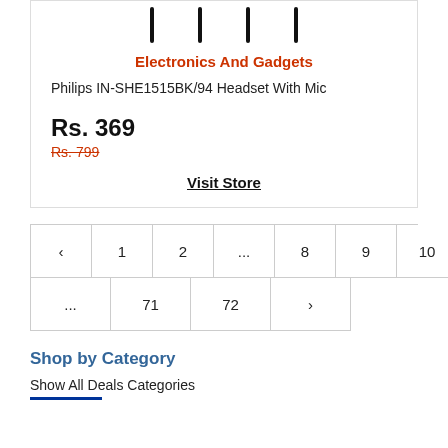[Figure (illustration): Partial product card showing top portion with four vertical black lines representing headset cables, partially cropped at top]
Electronics And Gadgets
Philips IN-SHE1515BK/94 Headset With Mic
Rs. 369
Rs. 799
Visit Store
‹ 1 2 ... 8 9 10 11 12 13 14 ... 71 72 ›
Shop by Category
Show All Deals Categories